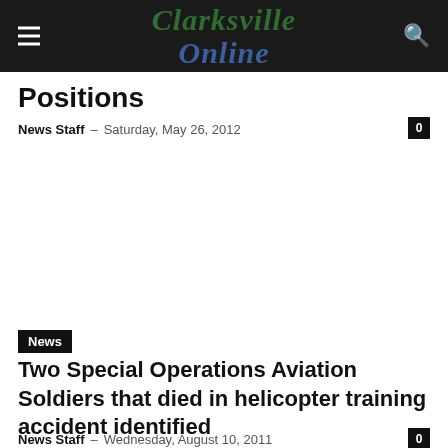Clarksville Online
Positions
News Staff – Saturday, May 26, 2012
[Figure (other): Advertisement placeholder area (blank white space)]
News
Two Special Operations Aviation Soldiers that died in helicopter training accident identified
News Staff – Wednesday, August 10, 2011